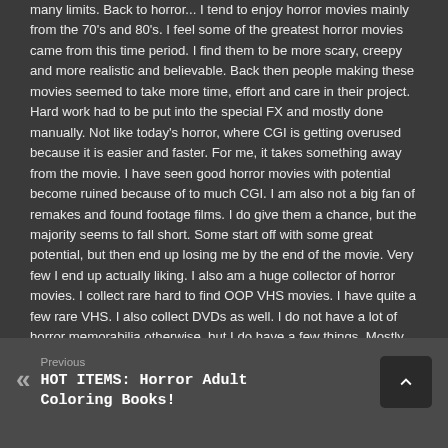many limits. Back to horror... I tend to enjoy horror movies mainly from the 70's and 80's. I feel some of the greatest horror movies came from this time period. I find them to be more scary, creepy and more realistic and believable. Back then people making these movies seemed to take more time, effort and care in their project. Hard work had to be put into the special FX and mostly done manually. Not like today's horror, where CGI is getting overused because it is easier and faster. For me, it takes something away from the movie. I have seen good horror movies with potential become ruined because of to much CGI. I am also not a big fan of remakes and found footage films. I do give them a chance, but the majority seems to fall short. Some start off with some great potential, but then end up losing me by the end of the movie. Very few I end up actually liking. I also am a huge collector of horror movies. I collect rare hard to find OOP VHS movies. I have quite a few rare VHS. I also collect DVDs as well. I do not have a lot of horror memorabilia otherwise, but I do have a few things. Mostly the problem is that I have ran out of room, lol! I have around 1200 horror movies alone, VHS & DVD. That isn't even counting the regular movies I have. So that is about it really, if you have questions for me, just ask! I don't bite! Lilith
[Figure (other): Social media icon buttons: home icon and Twitter bird icon]
Previous
HOT ITEMS: Horror Adult Coloring Books!